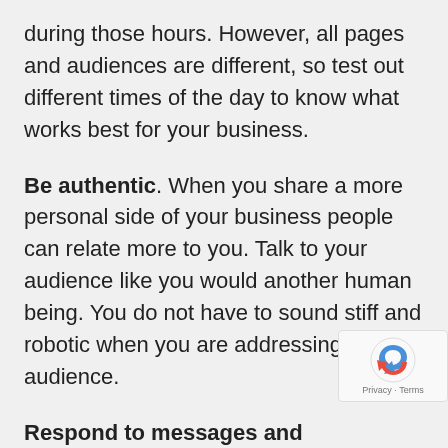during those hours. However, all pages and audiences are different, so test out different times of the day to know what works best for your business.
Be authentic. When you share a more personal side of your business people can relate more to you. Talk to your audience like you would another human being. You do not have to sound stiff and robotic when you are addressing your audience.
Respond to messages and comments. It wise to monitor your page and provide goo customer service